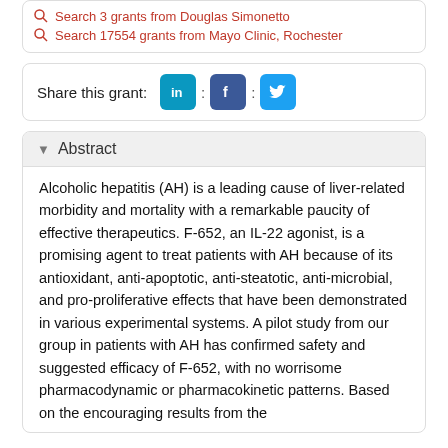Search 3 grants from Douglas Simonetto
Search 17554 grants from Mayo Clinic, Rochester
Share this grant:
Abstract
Alcoholic hepatitis (AH) is a leading cause of liver-related morbidity and mortality with a remarkable paucity of effective therapeutics. F-652, an IL-22 agonist, is a promising agent to treat patients with AH because of its antioxidant, anti-apoptotic, anti-steatotic, anti-microbial, and pro-proliferative effects that have been demonstrated in various experimental systems. A pilot study from our group in patients with AH has confirmed safety and suggested efficacy of F-652, with no worrisome pharmacodynamic or pharmacokinetic patterns. Based on the encouraging results from the